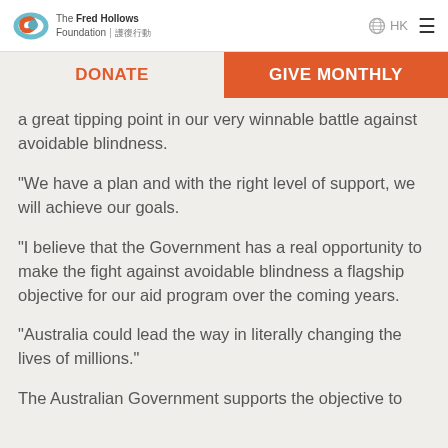The Fred Hollows Foundation | HK
DONATE | GIVE MONTHLY
a great tipping point in our very winnable battle against avoidable blindness.
"We have a plan and with the right level of support, we will achieve our goals.
"I believe that the Government has a real opportunity to make the fight against avoidable blindness a flagship objective for our aid program over the coming years.
"Australia could lead the way in literally changing the lives of millions."
The Australian Government supports the objective to